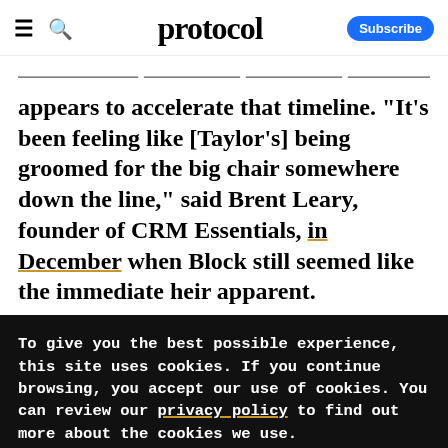protocol | Subscribe
appears to accelerate that timeline. "It's been feeling like [Taylor's] being groomed for the big chair somewhere down the line," said Brent Leary, founder of CRM Essentials, in December when Block still seemed like the immediate heir apparent.
To give you the best possible experience, this site uses cookies. If you continue browsing, you accept our use of cookies. You can review our privacy policy to find out more about the cookies we use.
Accept